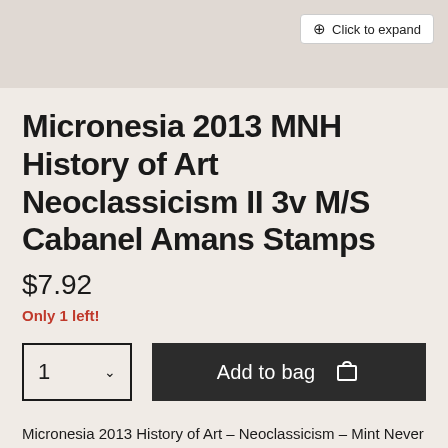[Figure (other): Product image placeholder with 'Click to expand' button in top right corner]
Micronesia 2013 MNH History of Art Neoclassicism II 3v M/S Cabanel Amans Stamps
$7.92
Only 1 left!
Add to bag
Micronesia 2013 History of Art – Neoclassicism – Mint Never Hinged (MNH)